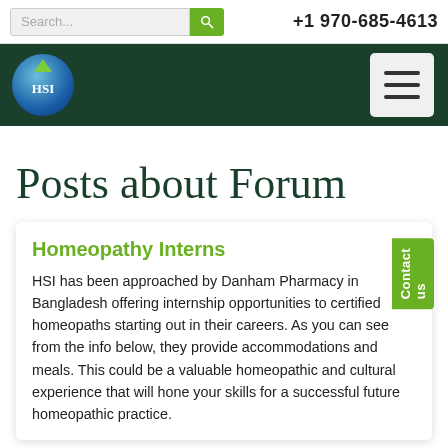Search... +1 970-685-4613
[Figure (logo): HSI globe logo with diamond, on dark green navigation bar with hamburger menu button]
Posts about Forum
Homeopathy Interns
HSI has been approached by Danham Pharmacy in Bangladesh offering internship opportunities to certified homeopaths starting out in their careers. As you can see from the info below, they provide accommodations and meals. This could be a valuable homeopathic and cultural experience that will hone your skills for a successful future homeopathic practice.